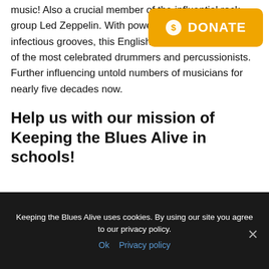music! Also a crucial member of the influential rock group Led Zeppelin. With powerful rhythms and infectious grooves, this English musician remains one of the most celebrated drummers and percussionists. Further influencing untold numbers of musicians for nearly five decades now.
[Figure (other): Orange donate button with dollar coin icon and text DONATE]
Help us with our mission of Keeping the Blues Alive in schools!
Keeping the Blues Alive uses cookies. By using our site you agree to our privacy policy.